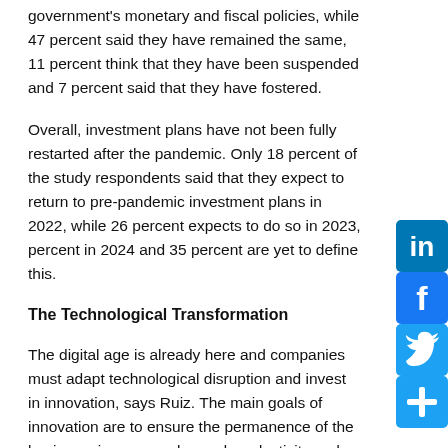government's monetary and fiscal policies, while 47 percent said they have remained the same, 11 percent think that they have been suspended and 7 percent said that they have fostered.
Overall, investment plans have not been fully restarted after the pandemic. Only 18 percent of the study respondents said that they expect to return to pre-pandemic investment plans in 2022, while 26 percent expects to do so in 2023, percent in 2024 and 35 percent are yet to define this.
The Technological Transformation
The digital age is already here and companies must adapt technological disruption and invest in innovation, says Ruiz. The main goals of innovation are to ensure the permanence of the business, increase sales and productivity and develop new products or services, said KPMG's study respondents.
Technology plays an essential role in improving